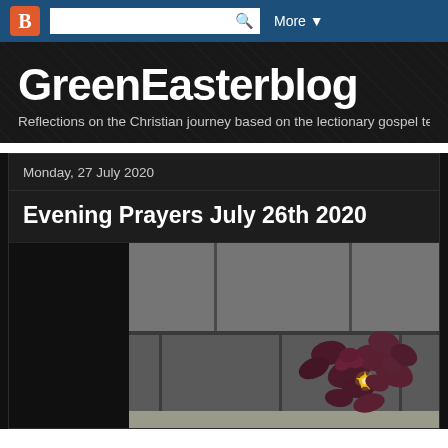B [Blogger icon] [search box] More ▼
GreenEasterblog
Reflections on the Christian journey based on the lectionary gospel te
Monday, 27 July 2020
Evening Prayers July 26th 2020
[Figure (photo): Close-up photo of dark reddish-purple clover-like leaves with a small glowing star-shaped light or candle among them, positioned against a rough stone or concrete surface with mortar lines visible.]